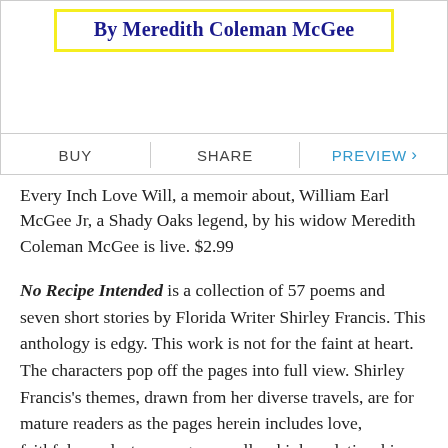[Figure (other): Book cover panel showing title 'By Meredith Coleman McGee' in bold dark blue text inside a yellow-bordered box, with BUY | SHARE | PREVIEW action bar below]
Every Inch Love Will, a memoir about, William Earl McGee Jr, a Shady Oaks legend, by his widow Meredith Coleman McGee is live. $2.99
No Recipe Intended is a collection of 57 poems and seven short stories by Florida Writer Shirley Francis. This anthology is edgy. This work is not for the faint at heart. The characters pop off the pages into full view. Shirley Francis's themes, drawn from her diverse travels, are for mature readers as the pages herein includes love, faithfulness, lust, revenge as well as kinky relationships.